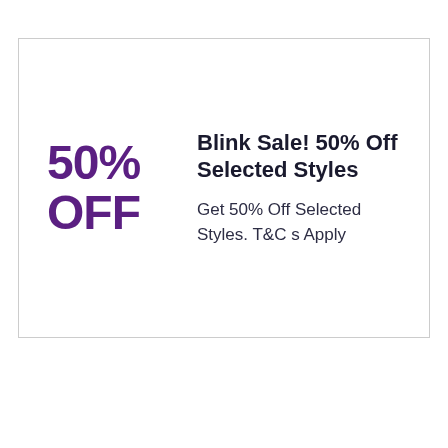50% OFF
Blink Sale! 50% Off Selected Styles
Get 50% Off Selected Styles. T&C s Apply